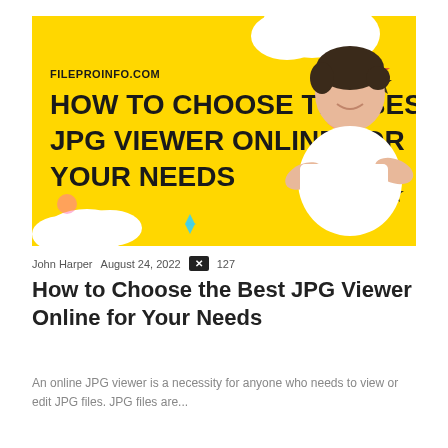[Figure (illustration): Yellow banner image with bold black text 'HOW TO CHOOSE THE BEST JPG VIEWER ONLINE FOR YOUR NEEDS' and 'FILEPROINFO.COM' label, decorative star and cloud shapes, and a man with crossed arms wearing a white t-shirt on the right side.]
John Harper   August 24, 2022   x   127
How to Choose the Best JPG Viewer Online for Your Needs
An online JPG viewer is a necessity for anyone who needs to view or edit JPG files. JPG files are...